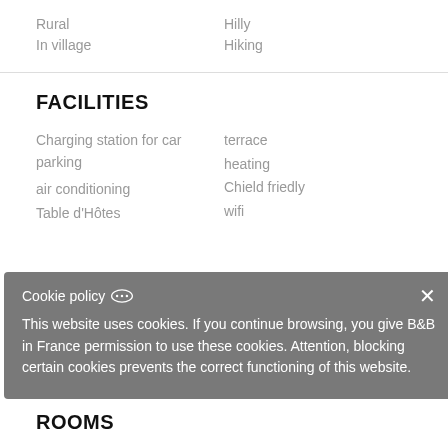Rural
In village
Hilly
Hiking
FACILITIES
Charging station for car parking
terrace
heating
air conditioning
Chield friedly
Table d'Hôtes
wifi
Cookie policy
This website uses cookies. If you continue browsing, you give B&B in France permission to use these cookies. Attention, blocking certain cookies prevents the correct functioning of this website.
ROOMS